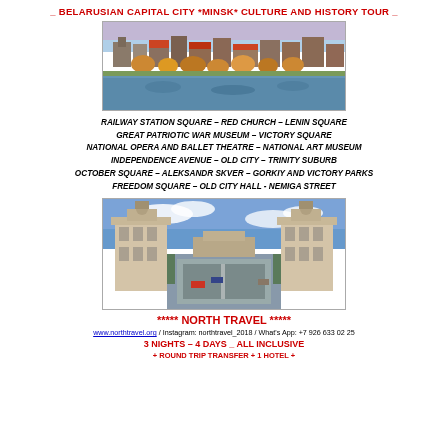_ BELARUSIAN CAPITAL CITY *MINSK* CULTURE AND HISTORY TOUR _
[Figure (photo): Aerial/panoramic view of Minsk city with river, colorful autumn trees, and buildings]
RAILWAY STATION SQUARE – RED CHURCH – LENIN SQUARE
GREAT PATRIOTIC WAR MUSEUM – VICTORY SQUARE
NATIONAL OPERA AND BALLET THEATRE – NATIONAL ART MUSEUM
INDEPENDENCE AVENUE – OLD CITY – TRINITY SUBURB
OCTOBER SQUARE – ALEKSANDR SKVER – GORKIY AND VICTORY PARKS
FREEDOM SQUARE – OLD CITY HALL - NEMIGA STREET
[Figure (photo): Street view of Minsk with two large Soviet-style gate towers flanking a wide boulevard]
***** NORTH TRAVEL *****
www.northtravel.org / Instagram: northtravel_2018 / What's App: +7 926 633 02 25
3 NIGHTS – 4 DAYS _ ALL INCLUSIVE
+ ROUND TRIP TRANSFER + 1 HOTEL +